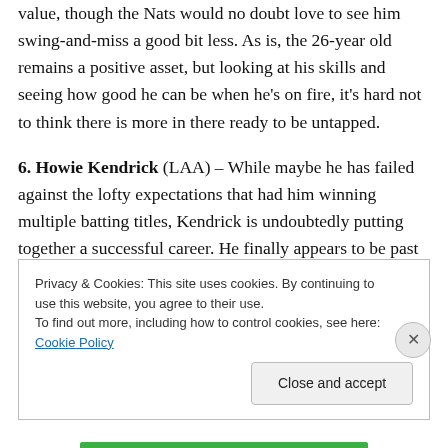value, though the Nats would no doubt love to see him swing-and-miss a good bit less. As is, the 26-year old remains a positive asset, but looking at his skills and seeing how good he can be when he's on fire, it's hard not to think there is more in there ready to be untapped.
6. Howie Kendrick (LAA) – While maybe he has failed against the lofty expectations that had him winning multiple batting titles, Kendrick is undoubtedly putting together a successful career. He finally appears to be past the injury bug and he delivers in all three facets of the game making him one of the best, but also most...
Privacy & Cookies: This site uses cookies. By continuing to use this website, you agree to their use.
To find out more, including how to control cookies, see here: Cookie Policy